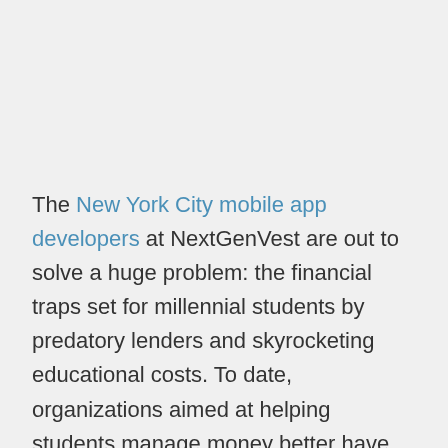The New York City mobile app developers at NextGenVest are out to solve a huge problem: the financial traps set for millennial students by predatory lenders and skyrocketing educational costs. To date, organizations aimed at helping students manage money better have failed — particularly when trying to profit in the process — because of the historically low trust younger demographics have in financial institutions